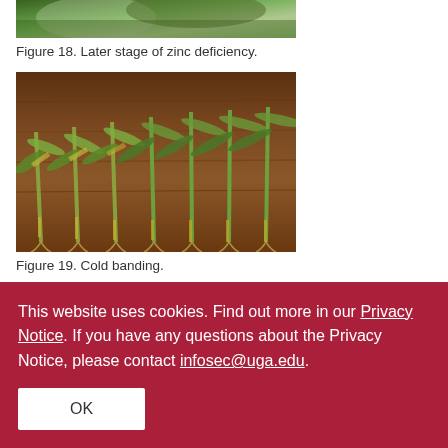[Figure (photo): Partial view of a plant showing later stage of zinc deficiency — green and mottled leaves visible, cropped at top of page]
Figure 18. Later stage of zinc deficiency.
[Figure (photo): Several corn seedlings laid out on a wooden surface showing cold banding — yellow-green striped leaves with roots visible]
Figure 19. Cold banding.
This website uses cookies. Find out more in our Privacy Notice. If you have any questions about the Privacy Notice, please contact infosec@uga.edu.
OK